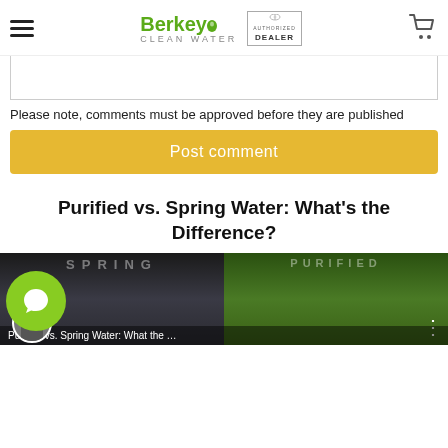Berkey Clean Water — Authorized Dealer
Please note, comments must be approved before they are published
Post comment
Purified vs. Spring Water: What's the Difference?
[Figure (screenshot): Thumbnail image showing Purified vs. Spring Water article preview with left side showing SPRING label over dark image and right side showing PURIFIED label over green image, with overlay text 'Purified vs. Spring Water: What the ...']